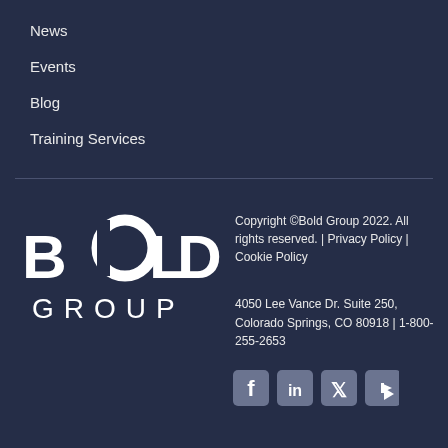News
Events
Blog
Training Services
[Figure (logo): Bold Group logo — white text on dark navy background, showing 'BOLD GROUP' with a circular arc graphic replacing the 'O' in BOLD]
Copyright ©Bold Group 2022. All rights reserved. | Privacy Policy | Cookie Policy
4050 Lee Vance Dr. Suite 250, Colorado Springs, CO 80918 | 1-800-255-2653
[Figure (infographic): Social media icons: Facebook, LinkedIn, Twitter, YouTube — grey rounded square buttons]